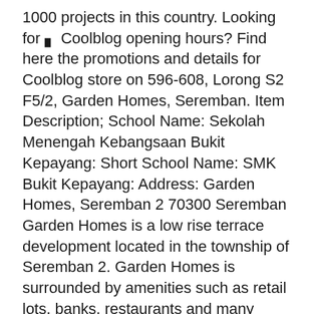1000 projects in this country. Looking for 🅱 Coolblog opening hours? Find here the promotions and details for Coolblog store on 596-608, Lorong S2 F5/2, Garden Homes, Seremban. Item Description; School Name: Sekolah Menengah Kebangsaan Bukit Kepayang: Short School Name: SMK Bukit Kepayang: Address: Garden Homes, Seremban 2 70300 Seremban Garden Homes is a low rise terrace development located in the township of Seremban 2. Garden Homes is surrounded by amenities such as retail lots, banks, restaurants and many more within a short drive.
Eskorte damer i oslo noveller erotisk Eskorte